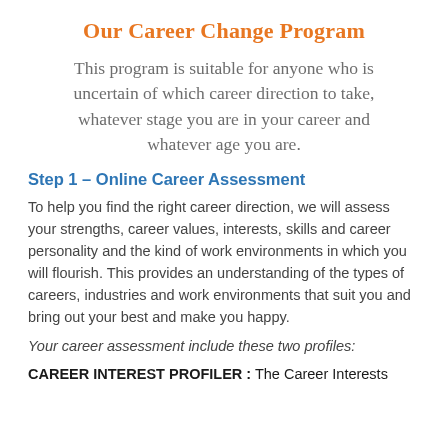Our Career Change Program
This program is suitable for anyone who is uncertain of which career direction to take, whatever stage you are in your career and whatever age you are.
Step 1 – Online Career Assessment
To help you find the right career direction, we will assess your strengths, career values, interests, skills and career personality and the kind of work environments in which you will flourish. This provides an understanding of the types of careers, industries and work environments that suit you and bring out your best and make you happy.
Your career assessment include these two profiles:
CAREER INTEREST PROFILER : The Career Interests